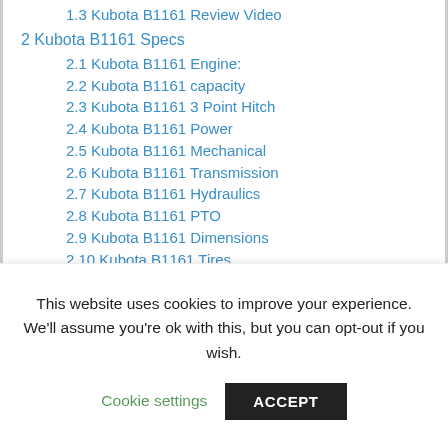1.3 Kubota B1161 Review Video
2 Kubota B1161 Specs
2.1 Kubota B1161 Engine:
2.2 Kubota B1161 capacity
2.3 Kubota B1161 3 Point Hitch
2.4 Kubota B1161 Power
2.5 Kubota B1161 Mechanical
2.6 Kubota B1161 Transmission
2.7 Kubota B1161 Hydraulics
2.8 Kubota B1161 PTO
2.9 Kubota B1161 Dimensions
2.10 Kubota B1161 Tires
2.11 Kubota B1161 Electrical
2.12 Kubota B1161 Battery
This website uses cookies to improve your experience. We'll assume you're ok with this, but you can opt-out if you wish.
Cookie settings | ACCEPT